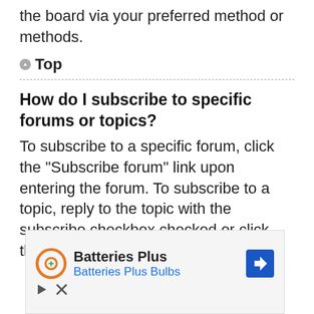the board via your preferred method or methods.
Top
How do I subscribe to specific forums or topics?
To subscribe to a specific forum, click the “Subscribe forum” link upon entering the forum. To subscribe to a topic, reply to the topic with the subscribe checkbox checked or click the “Subscribe topic”
[Figure (other): Advertisement banner for Batteries Plus Bulbs with logo, navigation icon, play and close icons]